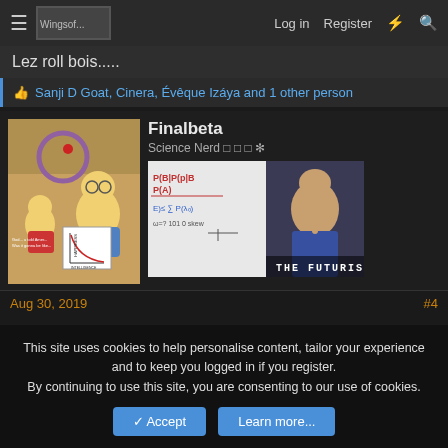Lez roll bois..... | Log in | Register
Sanji D Goat, Cinera, Évêque Izáya and 1 other person
Finalbeta
Science Nerd 🔲🔲🔲 ✳
[Figure (photo): Simpsons meme image showing Homer and Lisa with a happiness vs intelligence graph]
[Figure (photo): Big Bang Theory meme image with math equations and text THE FUTURIST]
Aug 30, 2019
#4
This site uses cookies to help personalise content, tailor your experience and to keep you logged in if you register.
By continuing to use this site, you are consenting to our use of cookies.
Accept | Learn more...